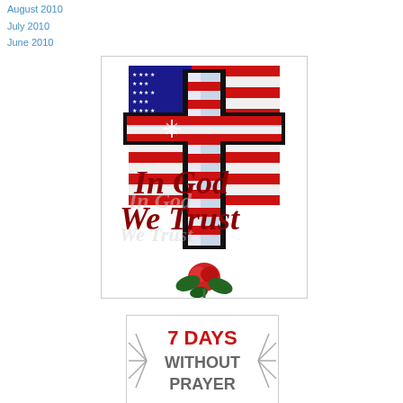August 2010
July 2010
June 2010
[Figure (illustration): Cross with American flag design and 'In God We Trust' text with roses at the bottom]
[Figure (illustration): Banner reading '7 DAYS WITHOUT PRAYER' with starburst graphic elements]